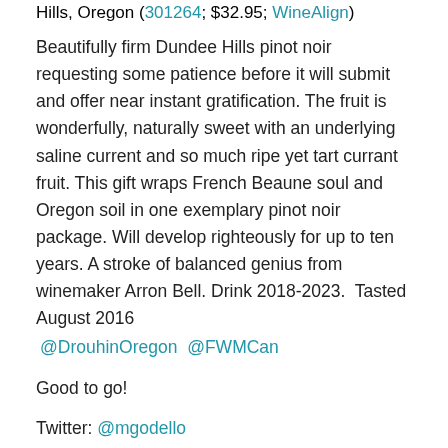Hills, Oregon (301264; $32.95; WineAlign)
Beautifully firm Dundee Hills pinot noir requesting some patience before it will submit and offer near instant gratification. The fruit is wonderfully, naturally sweet with an underlying saline current and so much ripe yet tart currant fruit. This gift wraps French Beaune soul and Oregon soil in one exemplary pinot noir package. Will develop righteously for up to ten years. A stroke of balanced genius from winemaker Arron Bell. Drink 2018-2023.  Tasted August 2016
@DrouhinOregon  @FWMCan
Good to go!
Twitter: @mgodello
Instagram: mgodello